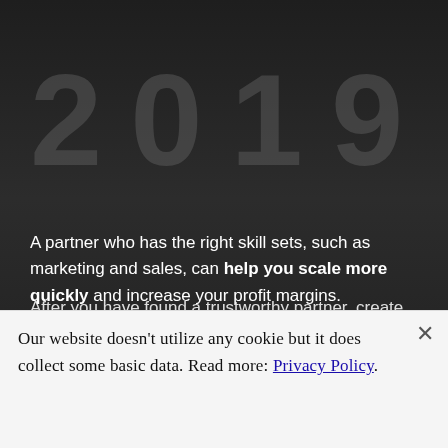[Figure (photo): Dark background section with large semi-transparent watermark numbers (appears to show '2019' or similar large digits) overlaid on a dark background, appearing as a decorative element behind text content.]
A partner who has the right skill sets, such as marketing and sales, can help you scale more quickly and increase your profit margins.
After you have found a trustworthy partner, create
Our website doesn't utilize any cookie but it does collect some basic data. Read more: Privacy Policy.